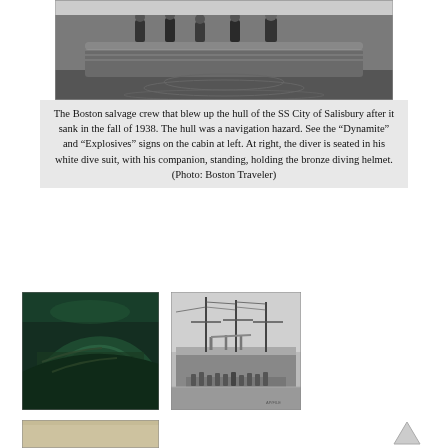[Figure (photo): Black and white historical photograph showing the Boston salvage crew on a boat, viewed from above. People standing on the deck of a vessel.]
The Boston salvage crew that blew up the hull of the SS City of Salisbury after it sank in the fall of 1938. The hull was a navigation hazard. See the “Dynamite” and “Explosives” signs on the cabin at left. At right, the diver is seated in his white dive suit, with his companion, standing, holding the bronze diving helmet. (Photo: Boston Traveler)
[Figure (photo): Underwater photograph of a shipwreck covered in algae and marine growth, dark green tones.]
[Figure (photo): Historical black and white photograph of a ship with masts, rigging, and crew members visible on deck.]
[Figure (photo): Partial view of a historical photograph at the bottom of the page, cream/sepia toned.]